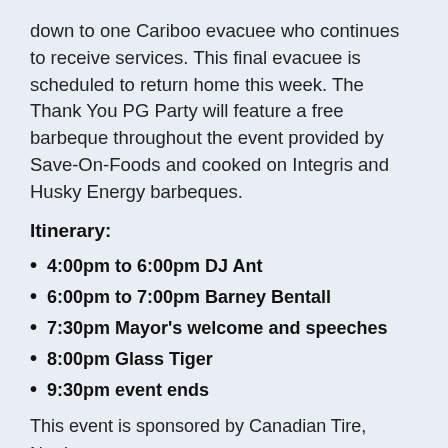down to one Cariboo evacuee who continues to receive services. This final evacuee is scheduled to return home this week. The Thank You PG Party will feature a free barbeque throughout the event provided by Save-On-Foods and cooked on Integris and Husky Energy barbeques.
Itinerary:
4:00pm to 6:00pm DJ Ant
6:00pm to 7:00pm Barney Bentall
7:30pm Mayor's welcome and speeches
8:00pm Glass Tiger
9:30pm event ends
This event is sponsored by Canadian Tire,
Norther…